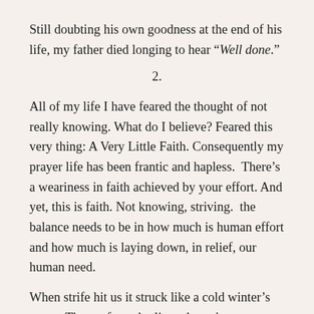Still doubting his own goodness at the end of his life, my father died longing to hear “Well done.”
2.
All of my life I have feared the thought of not really knowing. What do I believe? Feared this very thing: A Very Little Faith. Consequently my prayer life has been frantic and hapless.  There’s a weariness in faith achieved by your effort. And yet, this is faith. Not knowing, striving.  the balance needs to be in how much is human effort and how much is laying down, in relief, our human need.
When strife hit us it struck like a cold winter’s storm. Those of us who live where the seasons